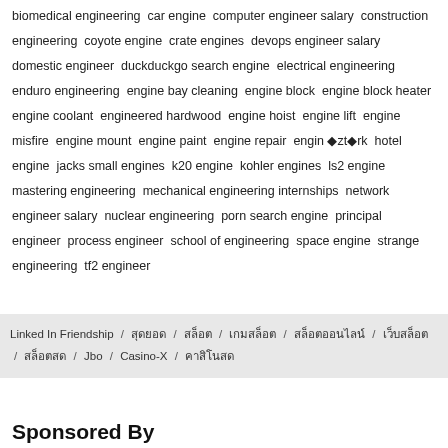biomedical engineering  car engine  computer engineer salary  construction engineering  coyote engine  crate engines  devops engineer salary  domestic engineer  duckduckgo search engine  electrical engineering  enduro engineering  engine bay cleaning  engine block  engine block heater  engine coolant  engineered hardwood  engine hoist  engine lift  engine misfire  engine mount  engine paint  engine repair  engin �zt�rk  hotel engine  jacks small engines  k20 engine  kohler engines  ls2 engine  mastering engineering  mechanical engineering internships  network engineer salary  nuclear engineering  porn search engine  principal engineer  process engineer  school of engineering  space engine  strange engineering  tf2 engineer
Linked In Friendship / สุดยอด / สล็อต / เกมสล็อต / สล็อตออนไลน์ / เว็บสล็อต / สล็อตสด / Jbo / Casino-X / คาสิโนสด
Sponsored By